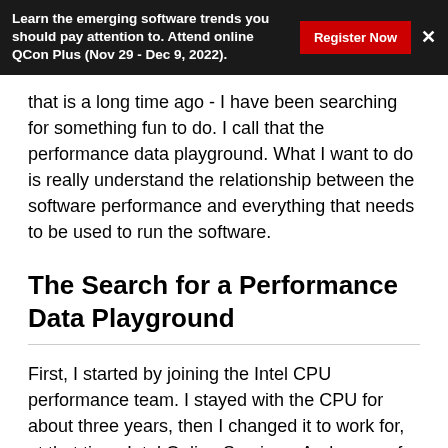Learn the emerging software trends you should pay attention to. Attend online QCon Plus (Nov 29 - Dec 9, 2022).
that is a long time ago - I have been searching for something fun to do. I call that the performance data playground. What I want to do is really understand the relationship between the software performance and everything that needs to be used to run the software.
The Search for a Performance Data Playground
First, I started by joining the Intel CPU performance team. I stayed with the CPU for about three years, then I changed it to work for, at that time, Intel Online Services. And some of you might remember, that is the beginning of the dotcom bubble. At the